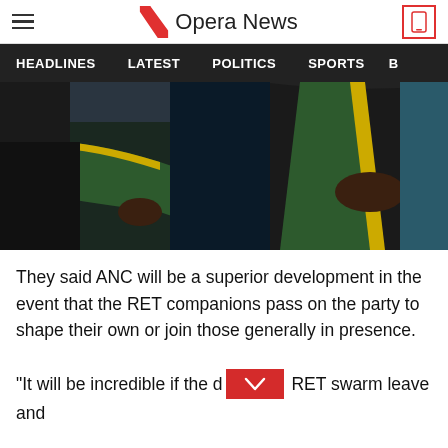Opera News
[Figure (photo): People wearing green and black ANC-coloured jackets with yellow trim, photographed from the torso down, appearing to be at a political gathering.]
They said ANC will be a superior development in the event that the RET companions pass on the party to shape their own or join those generally in presence.
"It will be incredible if the d RET swarm leave and